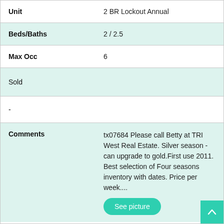| Field | Value |
| --- | --- |
| Unit | 2 BR Lockout Annual |
| Beds/Baths | 2 / 2.5 |
| Max Occ | 6 |
| Sold |  |
| - |  |
| Comments | tx07684 Please call Betty at TRI West Real Estate. Silver season - can upgrade to gold.First use 2011. Best selection of Four seasons inventory with dates. Price per week.... |